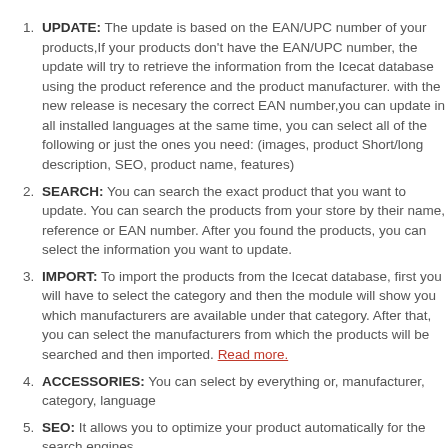UPDATE: The update is based on the EAN/UPC number of your products,If your products don't have the EAN/UPC number, the update will try to retrieve the information from the Icecat database using the product reference and the product manufacturer. with the new release is necesary the correct EAN number,you can update in all installed languages at the same time, you can select all of the following or just the ones you need: (images, product Short/long description, SEO, product name, features)
SEARCH: You can search the exact product that you want to update. You can search the products from your store by their name, reference or EAN number. After you found the products, you can select the information you want to update.
IMPORT: To import the products from the Icecat database, first you will have to select the category and then the module will show you which manufacturers are available under that category. After that, you can select the manufacturers from which the products will be searched and then imported. Read more.
ACCESSORIES: You can select by everything or, manufacturer, category, language
SEO: It allows you to optimize your product automatically for the search engines.
SETTINGS